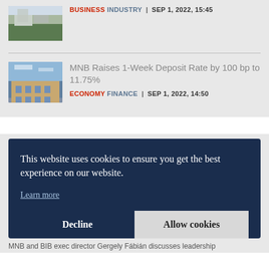[Figure (photo): Building exterior thumbnail - news article image]
BUSINESS INDUSTRY | SEP 1, 2022, 15:45
[Figure (photo): Historic bank or government building with classical architecture]
MNB Raises 1-Week Deposit Rate by 100 bp to 11.75%
ECONOMY FINANCE | SEP 1, 2022, 14:50
This website uses cookies to ensure you get the best experience on our website.
Learn more
Decline
Allow cookies
MNB and BIB exec director Gergely Fábián discusses leadership